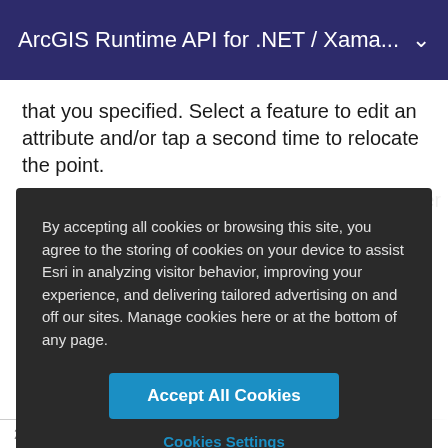ArcGIS Runtime API for .NET / Xama...
that you specified. Select a feature to edit an attribute and/or tap a second time to relocate the point.
To...
By accepting all cookies or browsing this site, you agree to the storing of cookies on your device to assist Esri in analyzing visitor behavior, improving your experience, and delivering tailored advertising on and off our sites. Manage cookies here or at the bottom of any page.
Accept All Cookies
Cookies Settings
2   Get the ServiceFeatureTable from the service